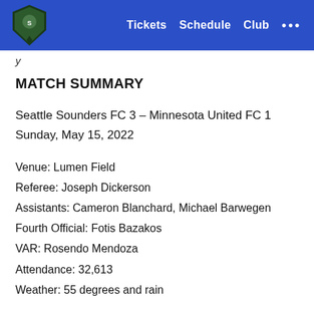Tickets  Schedule  Club  ...
y
MATCH SUMMARY
Seattle Sounders FC 3 – Minnesota United FC 1
Sunday, May 15, 2022
Venue: Lumen Field
Referee: Joseph Dickerson
Assistants: Cameron Blanchard, Michael Barwegen
Fourth Official: Fotis Bazakos
VAR: Rosendo Mendoza
Attendance: 32,613
Weather: 55 degrees and rain